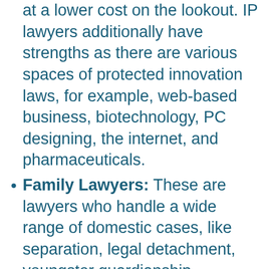at a lower cost on the lookout. IP lawyers additionally have strengths as there are various spaces of protected innovation laws, for example, web-based business, biotechnology, PC designing, the internet, and pharmaceuticals.
Family Lawyers: These are lawyers who handle a wide range of domestic cases, like separation, legal detachment, youngster guardianship, reception, paternity, divorce settlement, prenuptial or postnuptial arrangements, and emancipation. Be that as it may, family lawyers may likewise deal with conceptive rights cases, and their work might converge with different spaces of the law. For example, in case there's a criminal examination of youngster misuse or abusive